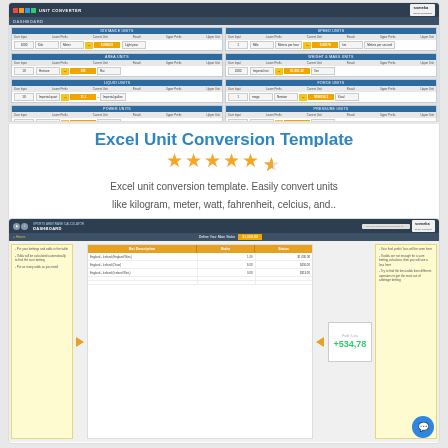[Figure (screenshot): Excel Unit Conversion Template dashboard screenshot showing distance, speed, area, weight, liquid, power, time, pressure, radiation, temperature, and energy unit conversion sections in a blue/white grid layout with Someka branding]
Excel Unit Conversion Template
★★★★★ (4.5 stars)
Excel unit conversion template. Easily convert units like kilogram, meter, watt, fahrenheit, celcius, and..
[Figure (screenshot): Sports Arbitrage Calculator dashboard screenshot showing bet description table with Bet Amount and Stake columns, a profit/loss indicator showing +534.78, orange arrows indicating workflow, yellow sticky note instructions on left and right sides, and Someka branding]